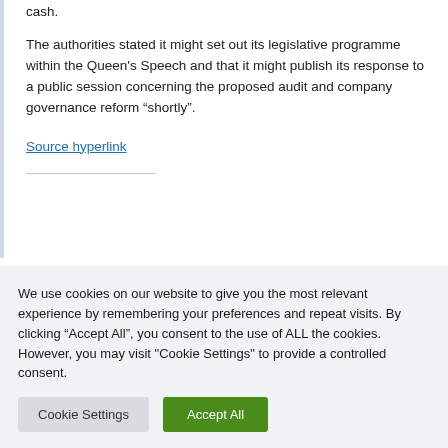cash.
The authorities stated it might set out its legislative programme within the Queen's Speech and that it might publish its response to a public session concerning the proposed audit and company governance reform “shortly”.
Source hyperlink
We use cookies on our website to give you the most relevant experience by remembering your preferences and repeat visits. By clicking “Accept All”, you consent to the use of ALL the cookies. However, you may visit "Cookie Settings" to provide a controlled consent.